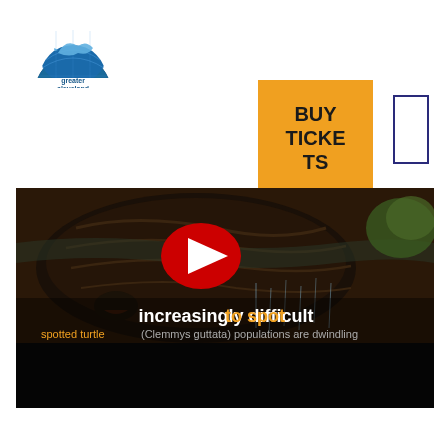[Figure (logo): Greater Cleveland Aquarium logo — semicircle with fish and globe imagery, text reads 'greater cleveland aquarium']
BUY TICKETS
[Figure (screenshot): YouTube video thumbnail showing a spotted turtle (Clemmys guttata) close-up near water surface with text overlay 'increasingly difficult to spot' and subtitle 'spotted turtle (Clemmys guttata) populations are dwindling'. A red YouTube play button is visible in the center.]